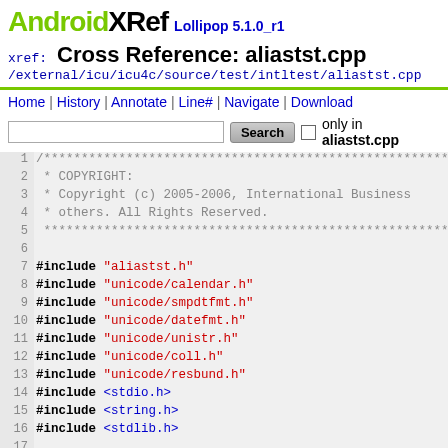AndroidXRef Lollipop 5.1.0_r1
Cross Reference: aliastst.cpp
/external/icu/icu4c/source/test/intltest/aliastst.cpp
Home | History | Annotate | Line# | Navigate | Download
Search  only in aliastst.cpp
1  /***********************************************************
2   * COPYRIGHT:
3   * Copyright (c) 2005-2006, International Business
4   * others. All Rights Reserved.
5   **********************************************************
6
7  #include "aliastst.h"
8  #include "unicode/calendar.h"
9  #include "unicode/smpdtfmt.h"
10  #include "unicode/datefmt.h"
11  #include "unicode/unistr.h"
12  #include "unicode/coll.h"
13  #include "unicode/resbund.h"
14  #include <stdio.h>
15  #include <string.h>
16  #include <stdlib.h>
17
18  const char* _LOCALE_ALIAS[][2] = {
19      {"in", "id"},